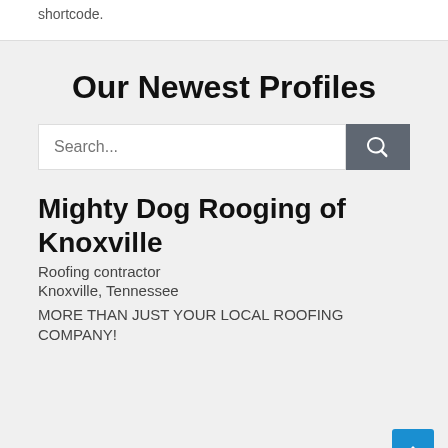shortcode.
Our Newest Profiles
[Figure (screenshot): Search input field with a dark grey search button containing a magnifying glass icon]
Mighty Dog Rooging of Knoxville
Roofing contractor
Knoxville, Tennessee
MORE THAN JUST YOUR LOCAL ROOFING COMPANY!